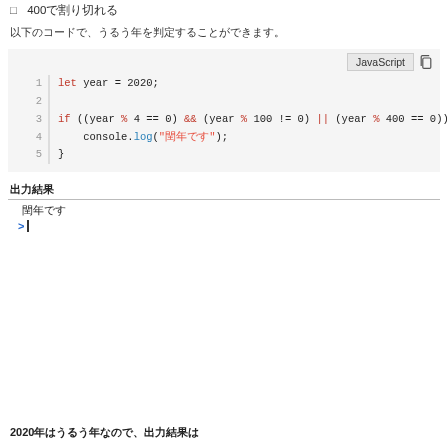□　400で割り切れる
以下のコードで、うるう年を判定することができます。
[Figure (screenshot): JavaScript code block showing leap year check: let year = 2020; if ((year % 4 == 0) && (year % 100 != 0) || (year % 400 == 0)) { console.log('閏年です'); }]
出力結果
閏年です
> |
2020年はうるう年なので、出力結果は